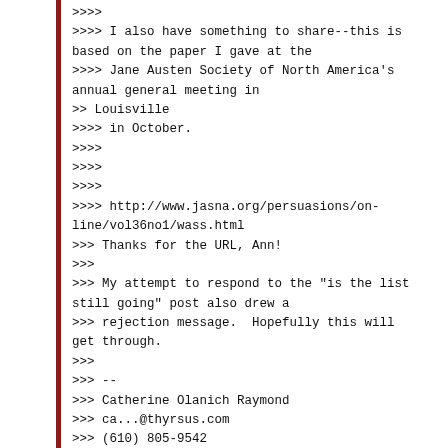>>>>
>>>> I also have something to share--this is based on the paper I gave at the
>>>> Jane Austen Society of North America's annual general meeting in
>> Louisville
>>>> in October.
>>>>
>>>>
>>>>
>>>> http://www.jasna.org/persuasions/on-line/vol36no1/wass.html
>>> Thanks for the URL, Ann!
>>>
>>> My attempt to respond to the "is the list still going" post also drew a
>>> rejection message.  Hopefully this will get through.
>>>
>>> --
>>> Catherine Olanich Raymond
>>> ca...@thyrsus.com
>>> (610) 805-9542